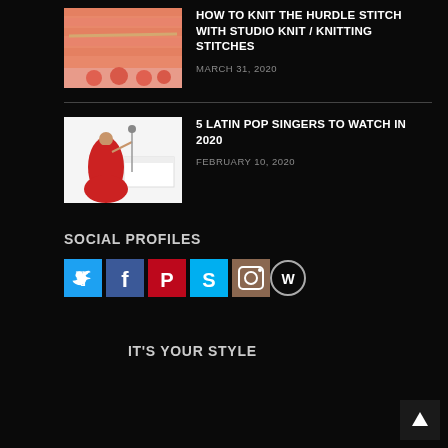[Figure (photo): Knitting photo showing salmon/orange knit fabric on needles]
HOW TO KNIT THE HURDLE STITCH WITH STUDIO KNIT / KNITTING STITCHES
MARCH 31, 2020
[Figure (photo): Woman in red dress posing by a white piano]
5 LATIN POP SINGERS TO WATCH IN 2020
FEBRUARY 10, 2020
SOCIAL PROFILES
[Figure (infographic): Social media icons: Twitter (blue), Facebook (blue), Pinterest (red), Skype (light blue), Instagram (brown), WordPress (circle outline)]
IT'S YOUR STYLE